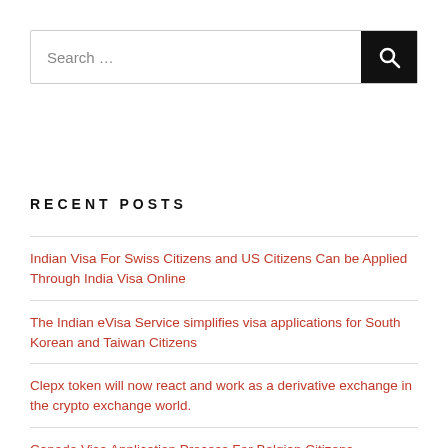[Figure (screenshot): Search bar with text input 'Search ...' and a dark search button with magnifying glass icon]
RECENT POSTS
Indian Visa For Swiss Citizens and US Citizens Can be Applied Through India Visa Online
The Indian eVisa Service simplifies visa applications for South Korean and Taiwan Citizens
Clepx token will now react and work as a derivative exchange in the crypto exchange world.
Canada Visa Application Process For Belgian Citizens